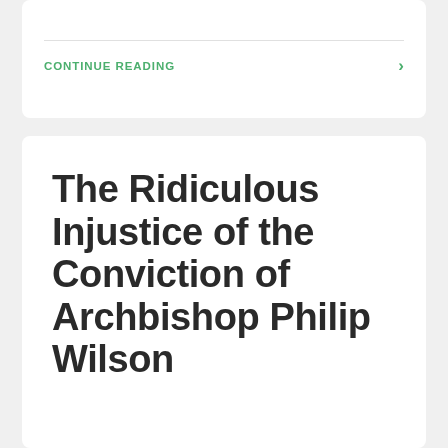CONTINUE READING ›
The Ridiculous Injustice of the Conviction of Archbishop Philip Wilson
In a case that hung entirely on circumstantial evidence and which saw the